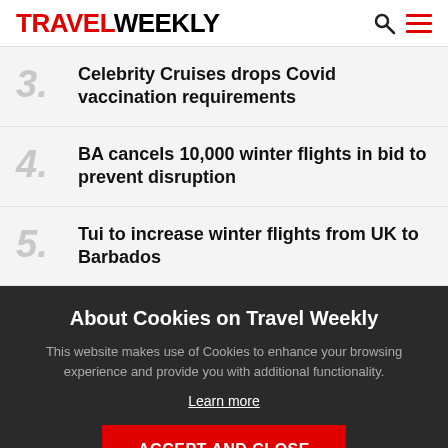TRAVEL WEEKLY
3. Celebrity Cruises drops Covid vaccination requirements
4. BA cancels 10,000 winter flights in bid to prevent disruption
5. Tui to increase winter flights from UK to Barbados
About Cookies on Travel Weekly
This website makes use of Cookies to enhance your browsing experience and provide you with additional functionality.
Learn more
ACCEPT AND CLOSE